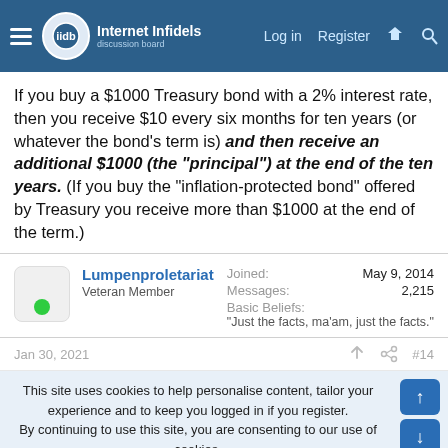Internet Infidels — Log in | Register
If you buy a $1000 Treasury bond with a 2% interest rate, then you receive $10 every six months for ten years (or whatever the bond's term is) and then receive an additional $1000 (the "principal") at the end of the ten years. (If you buy the "inflation-protected bond" offered by Treasury you receive more than $1000 at the end of the term.)
Lumpenproletariat
Veteran Member
Joined: May 9, 2014
Messages: 2,215
Basic Beliefs: "Just the facts, ma'am, just the facts."
Jan 30, 2021  #14
This site uses cookies to help personalise content, tailor your experience and to keep you logged in if you register.
By continuing to use this site, you are consenting to our use of cookies.